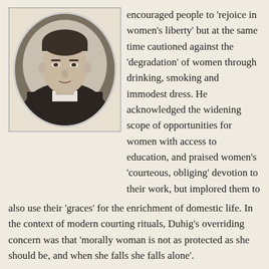[Figure (photo): Black and white oval portrait photograph of a young man in clerical dress (dark jacket with white collar), presumably a Catholic priest.]
encouraged people to 'rejoice in women's liberty' but at the same time cautioned against the 'degradation' of women through drinking, smoking and immodest dress. He acknowledged the widening scope of opportunities for women with access to education, and praised women's 'courteous, obliging' devotion to their work, but implored them to also use their 'graces' for the enrichment of domestic life. In the context of modern courting rituals, Duhig's overriding concern was that 'morally woman is not as protected as she should be, and when she falls she falls alone'.
If Duhig's views are taken as a proxy of sorts, it is not a stretch to conclude that Beirne saw himself as a protector of the moral virtue of the young women he employed. Bulolo Flats were indeed born from the strong sense of care and compassion for which Beirne was renowned, but at the same time they are an interesting case study in the paternalism that persisted during